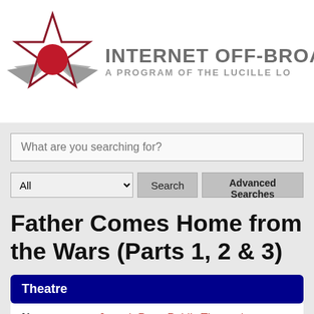[Figure (logo): Internet Off-Broadway Database logo: a star with a dark red outline and a red circle center, with silver wing shapes, beside text reading INTERNET OFF-BROADWAY and A PROGRAM OF THE LUCILLE LO...]
What are you searching for?
All | Search | Advanced Searches
Father Comes Home from the Wars (Parts 1, 2 & 3)
Theatre
Name: Joseph Papp Public Theater/ Anspacher